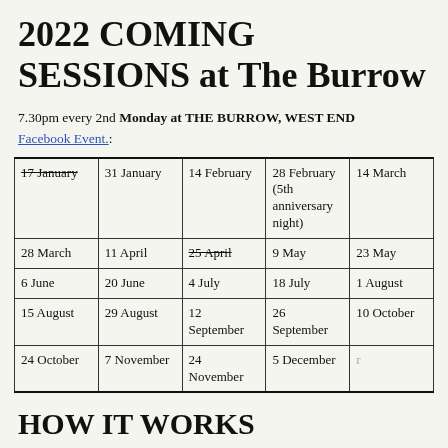2022 COMING SESSIONS at The Burrow
7.30pm every 2nd Monday at THE BURROW, WEST END
Facebook Event.:
| 17 January (strikethrough) | 31 January | 14 February | 28 February (5th anniversary night) | 14 March |
| 28 March | 11 April | 25 April (strikethrough) | 9 May | 23 May |
| 6 June | 20 June | 4 July | 18 July | 1 August |
| 15 August | 29 August | 12 September | 26 September | 10 October |
| 24 October | 7 November | 24 November | 5 December | [partially visible] |
HOW IT WORKS